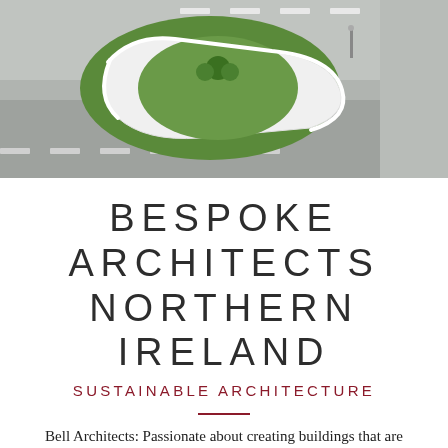[Figure (illustration): Aerial architectural rendering of a modern building with curved white walls, surrounded by green grass and a road with white dashed lane markings. The structure appears to be a roundabout or transit hub seen from above.]
BESPOKE ARCHITECTS NORTHERN IRELAND
SUSTAINABLE ARCHITECTURE
Bell Architects: Passionate about creating buildings that are sustainable and eco-friendly, we work hand in hand with every client.   With us, the process is smoother from inception to completion; we offer